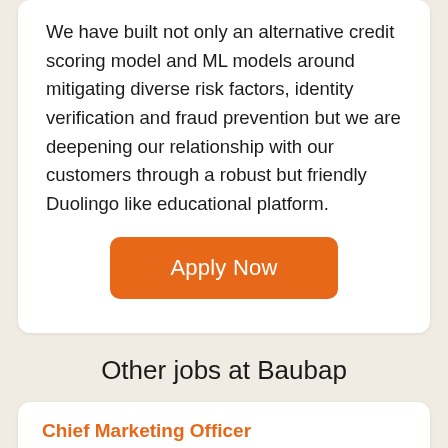We have built not only an alternative credit scoring model and ML models around mitigating diverse risk factors, identity verification and fraud prevention but we are deepening our relationship with our customers through a robust but friendly Duolingo like educational platform.
[Figure (other): Orange 'Apply Now' button]
Other jobs at Baubap
Chief Marketing Officer
Fulltime  •  Mexico / Remote  •  6+ Years